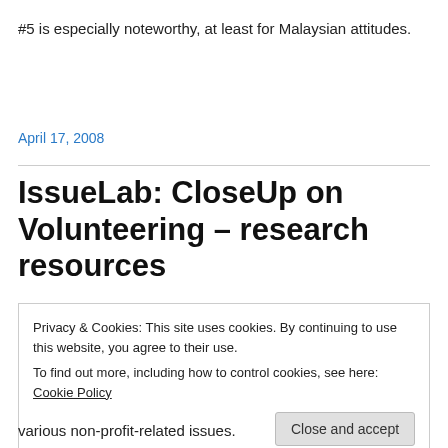#5 is especially noteworthy, at least for Malaysian attitudes.
April 17, 2008
IssueLab: CloseUp on Volunteering – research resources
Privacy & Cookies: This site uses cookies. By continuing to use this website, you agree to their use.
To find out more, including how to control cookies, see here: Cookie Policy
Close and accept
various non-profit-related issues.